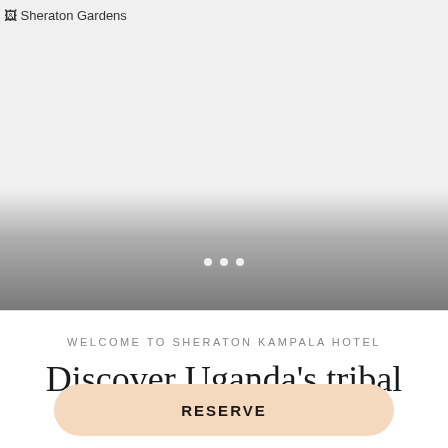[Figure (photo): Hero image area for Sheraton Gardens hotel, shown as broken image placeholder with gradient overlay and carousel navigation dots]
WELCOME TO SHERATON KAMPALA HOTEL
Discover Uganda's tribal
RESERVE